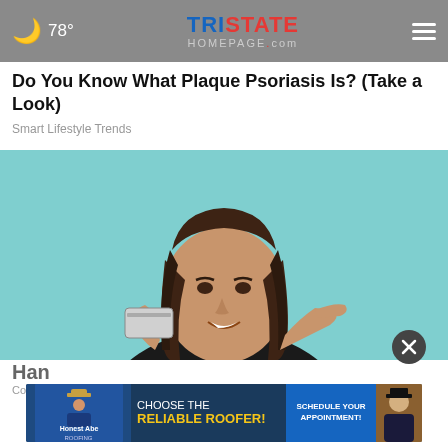78° — TRISTATE HOMEPAGE.com
Do You Know What Plaque Psoriasis Is? (Take a Look)
Smart Lifestyle Trends
[Figure (photo): Young woman with long brown hair and black v-neck top smiling and holding/pointing at a credit card against a light teal background]
Han
CompareCredit
[Figure (infographic): Advertisement banner: Honest Abe Roofing — Choose the Reliable Roofer! Schedule Your Appointment!]